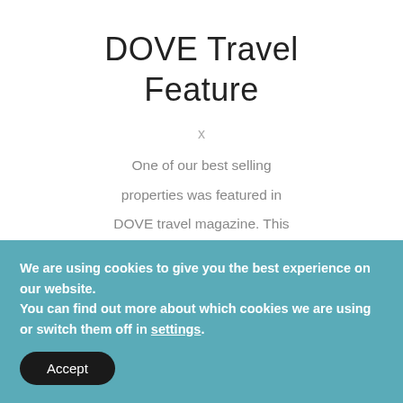DOVE Travel Feature
x
One of our best selling properties was featured in DOVE travel magazine. This beauty overlooks the town of Camogli and is cosy and unique. The gulf of Tigullio is one of Italy's best kept secrets and is a
We are using cookies to give you the best experience on our website.
You can find out more about which cookies we are using or switch them off in settings.
Accept